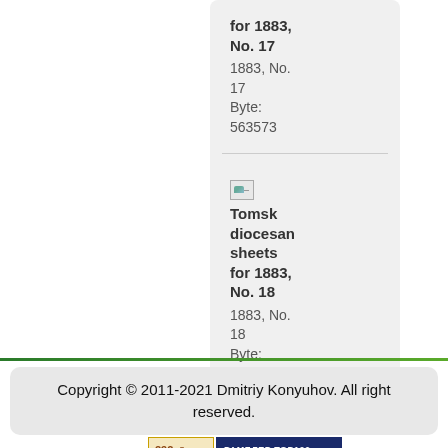for 1883, No. 17
1883, No. 17
Byte: 563573
[Figure (illustration): Broken image placeholder icon]
Tomsk diocesan sheets for 1883, No. 18
1883, No. 18
Byte: 654937
Copyright © 2011-2021 Dmitriy Konyuhov. All right reserved.